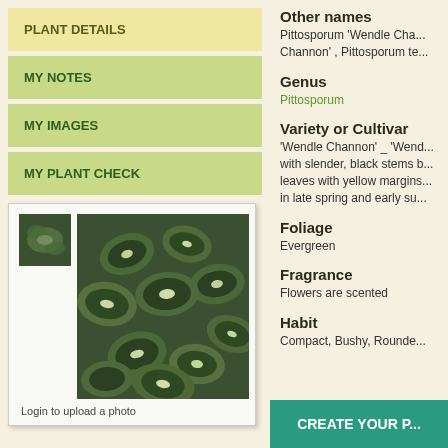PLANT DETAILS
MY NOTES
MY IMAGES
MY PLANT CHECK
[Figure (photo): Close-up photo of Pittosporum 'Wendle Channon' foliage showing dark green leaves with cream/white margins, with a small thumbnail version in upper left]
Login to upload a photo
Other names
Pittosporum 'Wendle Cha... Channon' , Pittosporum te...
Genus
Pittosporum
Variety or Cultivar
'Wendle Channon' _ 'Wend... with slender, black stems b... leaves with yellow margins... in late spring and early su...
Foliage
Evergreen
Fragrance
Flowers are scented
Habit
Compact, Bushy, Rounde...
CREATE YOUR P...